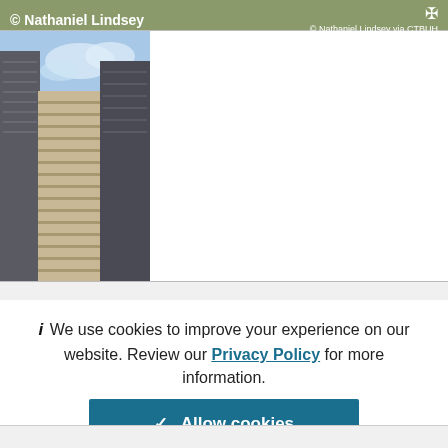[Figure (screenshot): Website screenshot showing a photo of tall residential skyscrapers against a blue sky, with a green/olive colored header bar. The header bar shows '© Nathaniel Lindsey' on the left and '© Nathaniel Lindsey via CTBUH' with an expand icon on the right.]
We use cookies to improve your experience on our website. Review our Privacy Policy for more information.
✓ Allow cookies